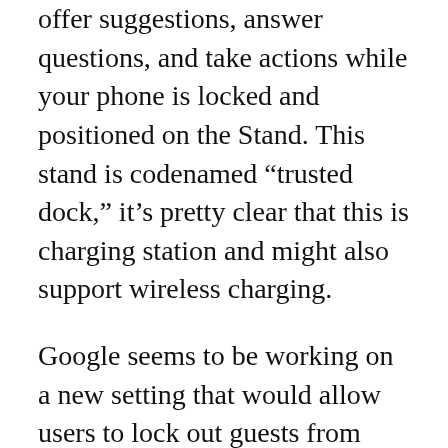offer suggestions, answer questions, and take actions while your phone is locked and positioned on the Stand. This stand is codenamed “trusted dock,” it’s pretty clear that this is charging station and might also support wireless charging.
Google seems to be working on a new setting that would allow users to lock out guests from launching YouTube videos on a smart display, but that’s not it, users will also be able to lock down the Assistant so it can take call on YouTube TV to filter content with ratings YT-Y, YT-G, G, and PG. The Google’s Feed might soon be replaced with ‘At a Glace Widget’ and soon Google might update ‘At a Glance minimum requirements’ and with the